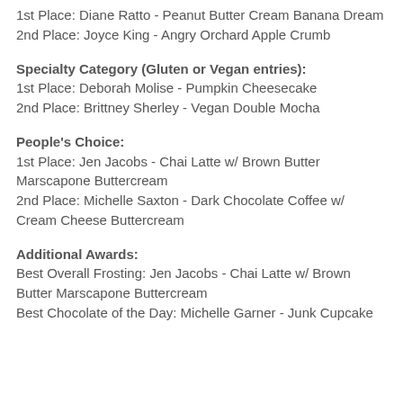1st Place: Diane Ratto - Peanut Butter Cream Banana Dream
2nd Place: Joyce King - Angry Orchard Apple Crumb
Specialty Category (Gluten or Vegan entries):
1st Place: Deborah Molise - Pumpkin Cheesecake
2nd Place: Brittney Sherley - Vegan Double Mocha
People's Choice:
1st Place: Jen Jacobs - Chai Latte w/ Brown Butter Marscapone Buttercream
2nd Place: Michelle Saxton - Dark Chocolate Coffee w/ Cream Cheese Buttercream
Additional Awards:
Best Overall Frosting: Jen Jacobs - Chai Latte w/ Brown Butter Marscapone Buttercream
Best Chocolate of the Day: Michelle Garner - Junk Cupcake